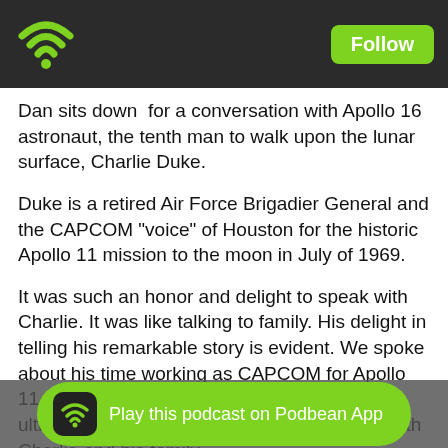Follow
Dan sits down  for a conversation with Apollo 16 astronaut, the tenth man to walk upon the lunar surface, Charlie Duke.
Duke is a retired Air Force Brigadier General and the CAPCOM "voice" of Houston for the historic Apollo 11 mission to the moon in July of 1969.
It was such an honor and delight to speak with Charlie. It was like talking to family. His delight in telling his remarkable story is evident. We spoke about his time working as CAPCOM for Apollo 11, his own trip to the moon on Apollo 16 and ultimately how the Lord Jesus Christ saved both Charlie and his family.
Here on part four Charlie tells the story of how he and John Young set a lunar land speed record in the Lunar Rover, sh... e exciting and mysterious tale of... Bruce Duke, and shares
Play this podcast on Podbean App